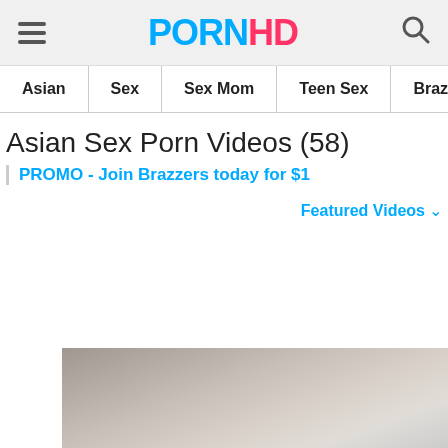PORNHD
Asian
Sex
Sex Mom
Teen Sex
Brazzers Sex
Asian Sex Porn Videos (58)
PROMO - Join Brazzers today for $1
Featured Videos
[Figure (photo): Thumbnail preview of a video]